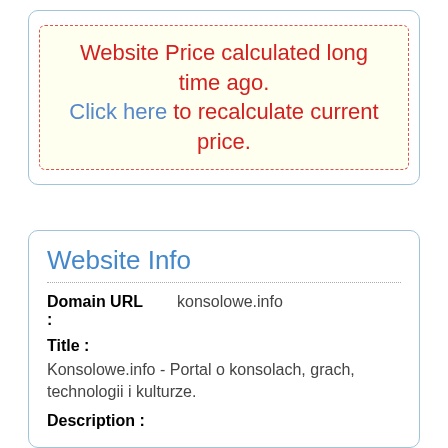Website Price calculated long time ago. Click here to recalculate current price.
Website Info
Domain URL : konsolowe.info
Title :
Konsolowe.info - Portal o konsolach, grach, technologii i kulturze.
Description :